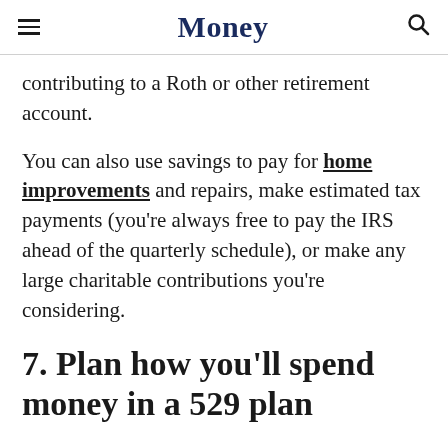Money
contributing to a Roth or other retirement account.
You can also use savings to pay for home improvements and repairs, make estimated tax payments (you’re always free to pay the IRS ahead of the quarterly schedule), or make any large charitable contributions you’re considering.
7. Plan how you’ll spend money in a 529 plan